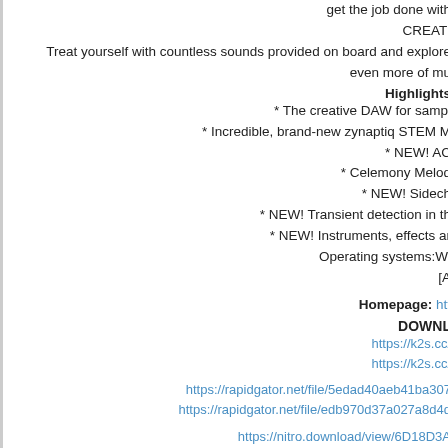get the job done with
CREATI
Treat yourself with countless sounds provided on board and explore even more of mu
Highlights
* The creative DAW for sampl
* Incredible, brand-new zynaptiq STEM M
* NEW! AC
* Celemony Melod
* NEW! Sidech
* NEW! Transient detection in th
* NEW! Instruments, effects ar
Operating systems:Wi
[A
Homepage: htt
DOWNL
https://k2s.cc/
https://k2s.cc/
https://rapidgator.net/file/5edad40aeb41ba307
https://rapidgator.net/file/edb970d37a027a8d4d
https://nitro.download/view/6D18D3A
https://nitro.download/view/3A95503EE7